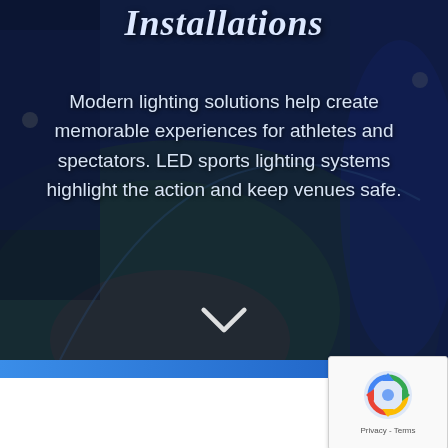Installations
Modern lighting solutions help create memorable experiences for athletes and spectators. LED sports lighting systems highlight the action and keep venues safe.
[Figure (other): Chevron / down-arrow icon indicating scroll down]
[Figure (screenshot): Background photo of a baseball stadium at night with a crowd, overlaid with dark blue tint. Below the hero section is a blue gradient bar, a white area, and a Google reCAPTCHA badge in the bottom-right corner showing the reCAPTCHA logo and 'Privacy - Terms' text.]